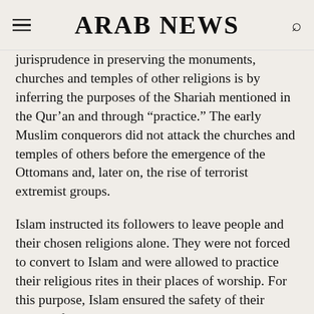ARAB NEWS
jurisprudence in preserving the monuments, churches and temples of other religions is by inferring the purposes of the Shariah mentioned in the Qur'an and through "practice." The early Muslim conquerors did not attack the churches and temples of others before the emergence of the Ottomans and, later on, the rise of terrorist extremist groups.
Islam instructed its followers to leave people and their chosen religions alone. They were not forced to convert to Islam and were allowed to practice their religious rites in their places of worship. For this purpose, Islam ensured the safety of their places of worship, provided them with special care, and prohibited all forms of